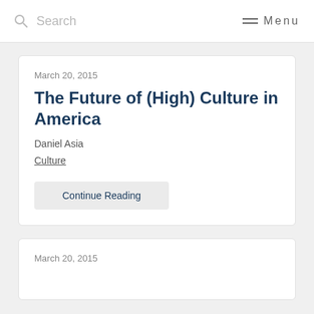Search   Menu
March 20, 2015
The Future of (High) Culture in America
Daniel Asia
Culture
Continue Reading
March 20, 2015